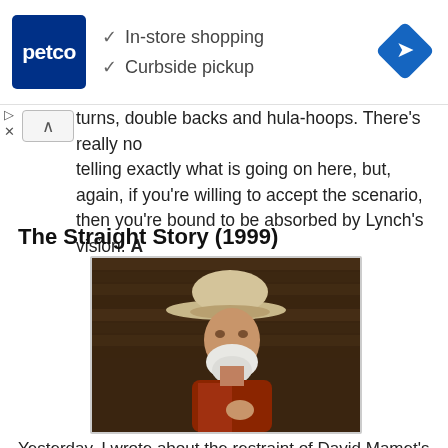[Figure (infographic): Petco advertisement banner with logo, checkmarks for In-store shopping and Curbside pickup, and a navigation arrow icon]
turns, double backs and hula-hoops. There's really no telling exactly what is going on here, but, again, if you're willing to accept the scenario, then you're bound to be absorbed by Lynch's vision. A
The Straight Story (1999)
[Figure (photo): An elderly man wearing a white cowboy hat, with a white beard, looking upward in a contemplative pose against a wooden background]
Yesterday, I wrote about the restraint of David Mamet's The Spanish Prisoner and The Winslow Boy. Those films were a sort of bitchslap to Mamet's critics who argued that he was a one-stop shop of male-dominated profanity. Wrong. Instead, Mamet proved he can work in any genre, with the limits of